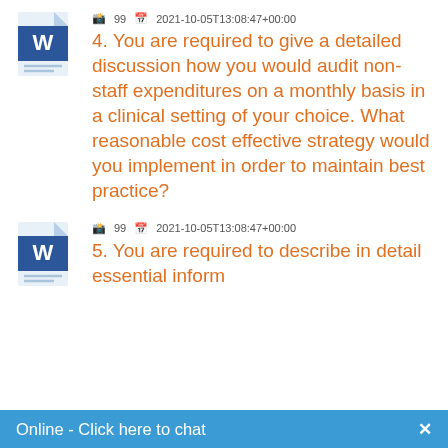[Figure (illustration): Microsoft Word document icon (blue W on white document with folded corner)]
99   2021-10-05T13:08:47+00:00
4. You are required to give a detailed discussion how you would audit non-staff expenditures on a monthly basis in a clinical setting of your choice. What reasonable cost effective strategy would you implement in order to maintain best practice?
[Figure (illustration): Microsoft Word document icon (blue W on white document with folded corner)]
99   2021-10-05T13:08:47+00:00
5. You are required to describe in detail essential inform...
Online - Click here to chat